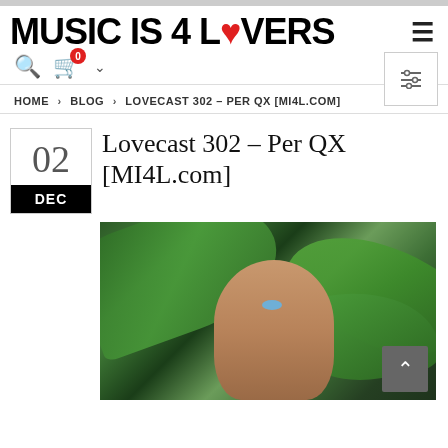MUSIC IS 4 LOVERS
HOME > BLOG > LOVECAST 302 – PER QX [MI4L.COM]
Lovecast 302 – Per QX [MI4L.com]
02 DEC
[Figure (photo): Man looking upward partially hidden behind large tropical green leaves]